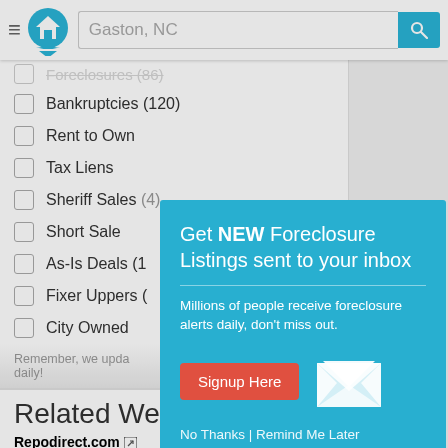Gaston, NC
Foreclosures (partially visible)
Bankruptcies (120)
Rent to Own
Tax Liens
Sheriff Sales (4)
Short Sale
As-Is Deals (1...)
Fixer Uppers (...)
City Owned
Remember, we upd... daily!
Related Web
Repodirect.com — Online auction for boats, cars, jet skis etc.
[Figure (screenshot): Popup modal overlay: Get NEW Foreclosure Listings sent to your inbox. Millions of people receive foreclosure alerts daily, don't miss out. Signup Here button. No Thanks | Remind Me Later. Envelope/mail icon graphic.]